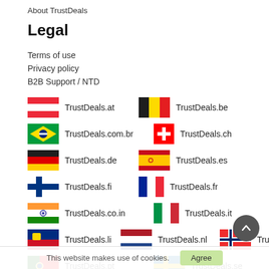About TrustDeals
Legal
Terms of use
Privacy policy
B2B Support / NTD
[Figure (infographic): Grid of country flags with TrustDeals domain names: TrustDeals.at, TrustDeals.be, TrustDeals.com.br, TrustDeals.ch, TrustDeals.de, TrustDeals.es, TrustDeals.fi, TrustDeals.fr, TrustDeals.co.in, TrustDeals.it, TrustDeals.li, TrustDeals.nl, TrustDeals.no, TrustDeals.pt, TrustDeals.se]
This website makes use of cookies.
Agree